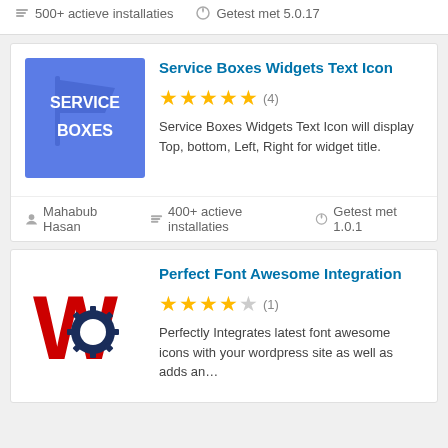500+ actieve installaties   Getest met 5.0.17
Service Boxes Widgets Text Icon
★★★★★ (4)
Service Boxes Widgets Text Icon will display Top, bottom, Left, Right for widget title.
Mahabub Hasan
400+ actieve installaties   Getest met 1.0.1
Perfect Font Awesome Integration
★★★★☆ (1)
Perfectly Integrates latest font awesome icons with your wordpress site as well as adds an…